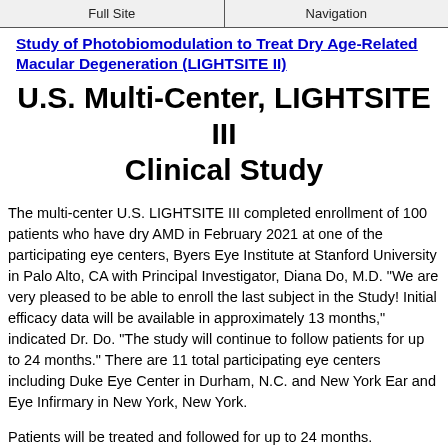Full Site | Navigation
Study of Photobiomodulation to Treat Dry Age-Related Macular Degeneration (LIGHTSITE II)
U.S. Multi-Center, LIGHTSITE III Clinical Study
The multi-center U.S. LIGHTSITE III completed enrollment of 100 patients who have dry AMD in February 2021 at one of the participating eye centers, Byers Eye Institute at Stanford University in Palo Alto, CA with Principal Investigator, Diana Do, M.D.  "We are very pleased to be able to enroll the last subject in the Study!  Initial efficacy data will be available in approximately 13 months," indicated Dr. Do.  "The study will continue to follow patients for up to 24 months."  There are 11 total participating eye centers including Duke Eye Center in Durham, N.C. and New York Ear and Eye Infirmary in New York, New York.
Patients will be treated and followed for up to 24 months.